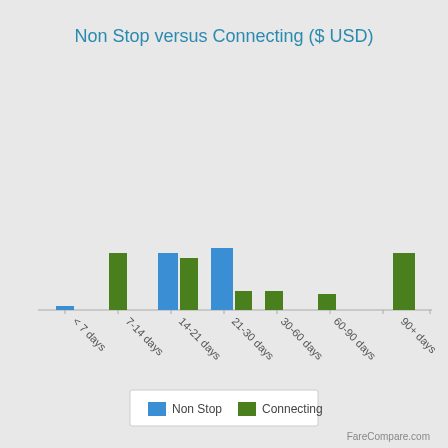[Figure (grouped-bar-chart): Non Stop versus Connecting ($ USD)]